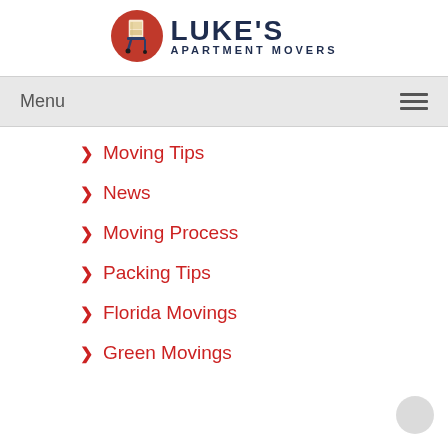[Figure (logo): Luke's Apartment Movers logo with red circular icon showing a hand truck with boxes and dark blue text]
Menu
> Moving Tips
> News
> Moving Process
> Packing Tips
> Florida Movings
> Green Movings